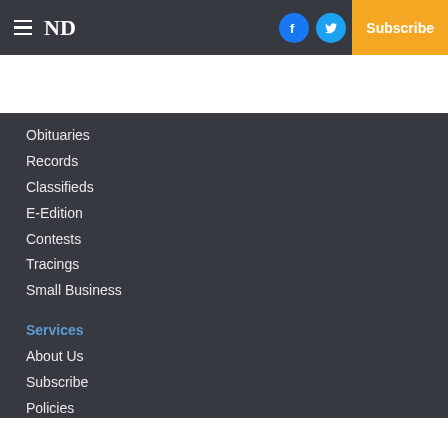≡ ND | [Facebook] [Twitter] [Email] | Log In | Subscribe
Obituaries
Records
Classifieds
E-Edition
Contests
Tracings
Small Business
Services
About Us
Subscribe
Policies
Terms of use
Submit a Photo
Submit a News Tip